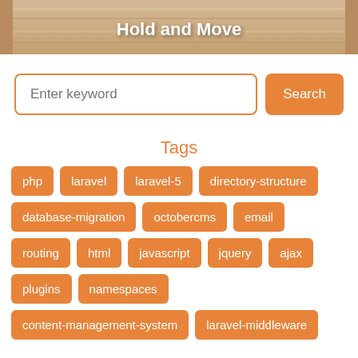[Figure (screenshot): Screenshot of a game banner with text 'Hold and Move' on a wooden/sandy background]
Enter keyword
Search
Tags
php
laravel
laravel-5
directory-structure
database-migration
octobercms
email
routing
html
javascript
jquery
ajax
plugins
namespaces
content-management-system
laravel-middleware